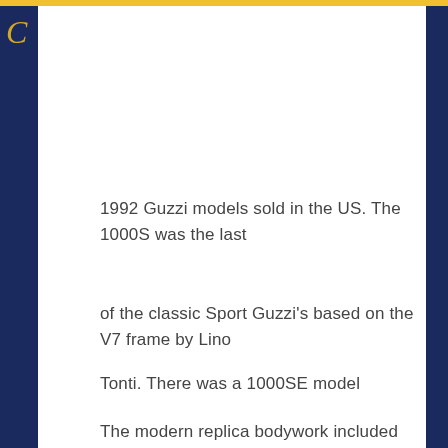1992 Guzzi models sold in the US. The 1000S was the last
of the classic Sport Guzzi's based on the V7 frame by Lino
Tonti. There was a 1000SE model
The modern replica bodywork included the gas tank, side